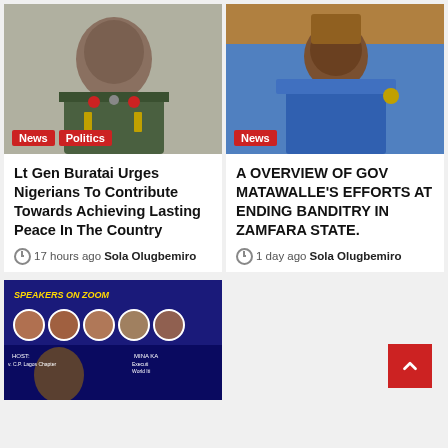[Figure (photo): Military officer in green uniform with medals and red accents]
[Figure (photo): Governor Matawalle seated on ornate throne in blue traditional attire]
Lt Gen Buratai Urges Nigerians To Contribute Towards Achieving Lasting Peace In The Country
17 hours ago  Sola Olugbemiro
A OVERVIEW OF GOV MATAWALLE'S EFFORTS AT ENDING BANDITRY IN ZAMFARA STATE.
1 day ago  Sola Olugbemiro
[Figure (photo): Speakers on Zoom webinar promotional banner with profile photos]